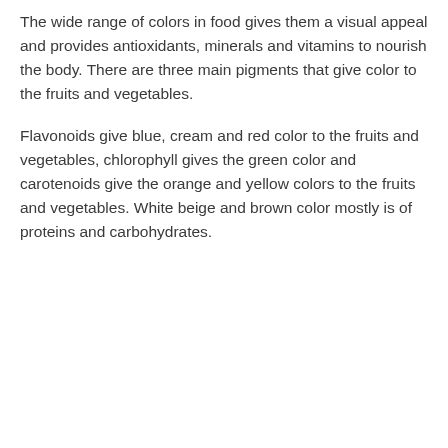The wide range of colors in food gives them a visual appeal and provides antioxidants, minerals and vitamins to nourish the body. There are three main pigments that give color to the fruits and vegetables.
Flavonoids give blue, cream and red color to the fruits and vegetables, chlorophyll gives the green color and carotenoids give the orange and yellow colors to the fruits and vegetables. White beige and brown color mostly is of proteins and carbohydrates.